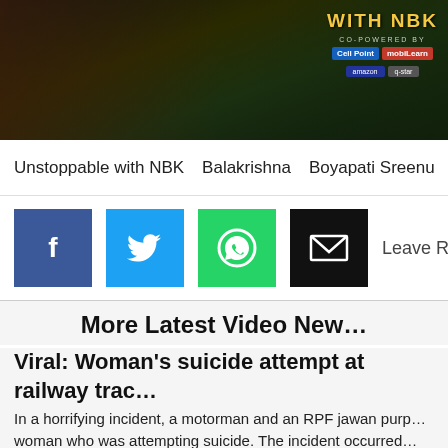[Figure (photo): Dark banner with 'WITH NBK' text in gold, co-powered by logos for CellPoint and mobiLearn, and two additional sponsor badges]
Unstoppable with NBK  Balakrishna  Boyapati Sreenu  Th…
[Figure (infographic): Social share buttons: Facebook (blue), Twitter (cyan), WhatsApp (green), Email (black). Followed by 'Leave R…' text.]
More Latest Video New…
Viral: Woman's suicide attempt at railway trac… jawan
In a horrifying incident, a motorman and an RPF jawan purp… woman who was attempting suicide. The incident occurred…